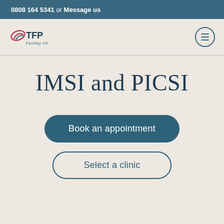0808 164 5341 or Message us
[Figure (logo): TFP Fertility UK logo with stylized bird/leaf icon in pink and blue]
IMSI and PICSI
Book an appointment
Select a clinic